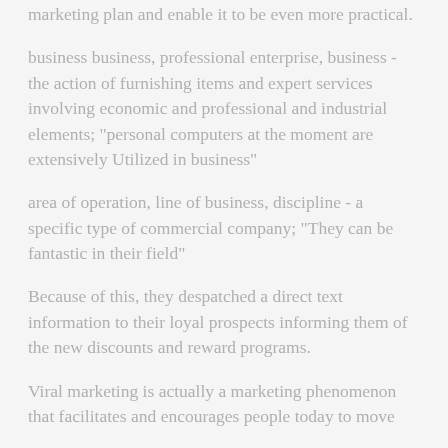marketing plan and enable it to be even more practical.
business business, professional enterprise, business - the action of furnishing items and expert services involving economic and professional and industrial elements; "personal computers at the moment are extensively Utilized in business"
area of operation, line of business, discipline - a specific type of commercial company; "They can be fantastic in their field"
Because of this, they despatched a direct text information to their loyal prospects informing them of the new discounts and reward programs.
Viral marketing is actually a marketing phenomenon that facilitates and encourages people today to move